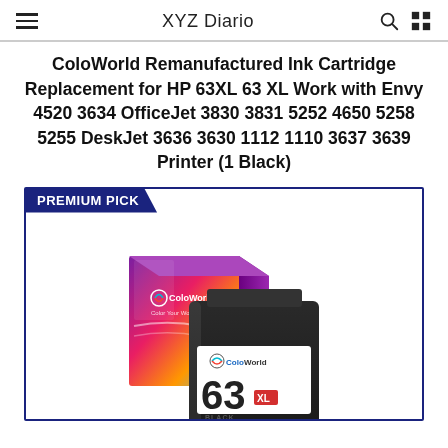XYZ Diario
ColoWorld Remanufactured Ink Cartridge Replacement for HP 63XL 63 XL Work with Envy 4520 3634 OfficeJet 3830 3831 5252 4650 5258 5255 DeskJet 3636 3630 1112 1110 3637 3639 Printer (1 Black)
[Figure (photo): ColoWorld branded black ink cartridge (HP 63 XL Black) with colorful product box, labeled with ColoWorld logo and '63 XL BLACK' text. Badge says PREMIUM PICK in dark blue.]